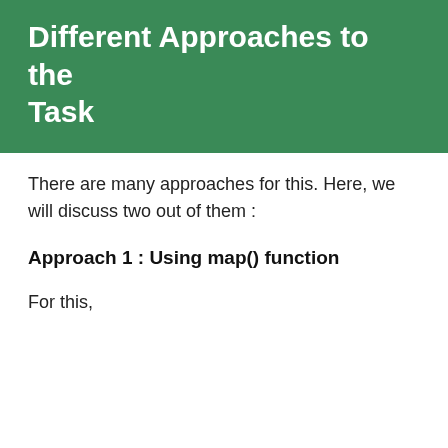Different Approaches to the Task
There are many approaches for this. Here, we will discuss two out of them :
Approach 1 : Using map() function
For this,